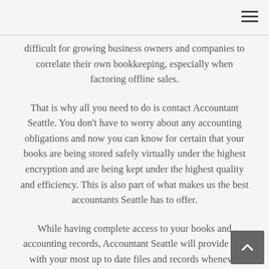difficult for growing business owners and companies to correlate their own bookkeeping, especially when factoring offline sales.
That is why all you need to do is contact Accountant Seattle. You don't have to worry about any accounting obligations and now you can know for certain that your books are being stored safely virtually under the highest encryption and are being kept under the highest quality and efficiency. This is also part of what makes us the best accountants Seattle has to offer.
While having complete access to your books and accounting records, Accountant Seattle will provide you with your most up to date files and records whenever